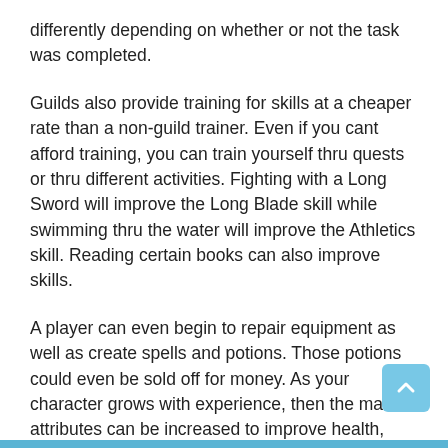differently depending on whether or not the task was completed.
Guilds also provide training for skills at a cheaper rate than a non-guild trainer. Even if you cant afford training, you can train yourself thru quests or thru different activities. Fighting with a Long Sword will improve the Long Blade skill while swimming thru the water will improve the Athletics skill. Reading certain books can also improve skills.
A player can even begin to repair equipment as well as create spells and potions. Those potions could even be sold off for money. As your character grows with experience, then the main attributes can be increased to improve health, magical power, and endurance. There is no limit to what can be done.